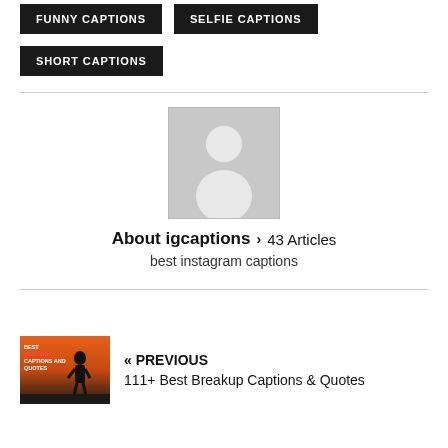FUNNY CAPTIONS
SELFIE CAPTIONS
SHORT CAPTIONS
[Figure (illustration): Generic avatar placeholder image - grey background with white silhouette of a person]
About igcaptions › 43 Articles
best instagram captions
[Figure (photo): Thumbnail image for article: silhouette of a person against orange/sunset background with text BEST BREAKUP CAPTIONS AND QUOTES]
« PREVIOUS 111+ Best Breakup Captions & Quotes